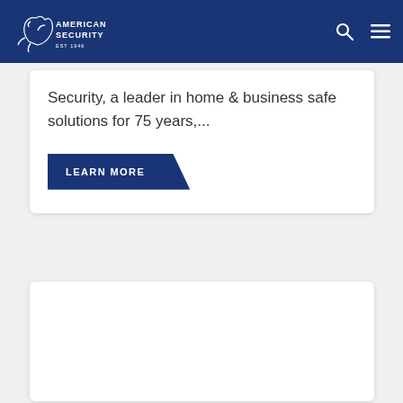American Security EST 1946
Security, a leader in home & business safe solutions for 75 years,...
LEARN MORE
[Figure (other): Empty white card placeholder at bottom of page]